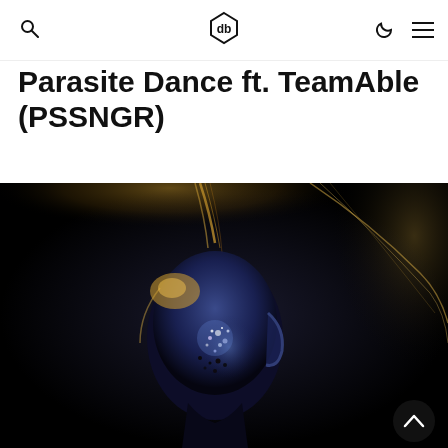🔍 [logo] ☾ ☰
Parasite Dance ft. TeamAble (PSSNGR)
[Figure (photo): Dark artistic photo of a bald, metallic/glossy humanoid figure with a reflective blue-tinted head against a black background. Streaks of golden light emanate from the top of the figure's head. The face appears partially dissolved with glittery particles. A scroll-to-top button with a chevron-up arrow appears in the bottom right corner.]